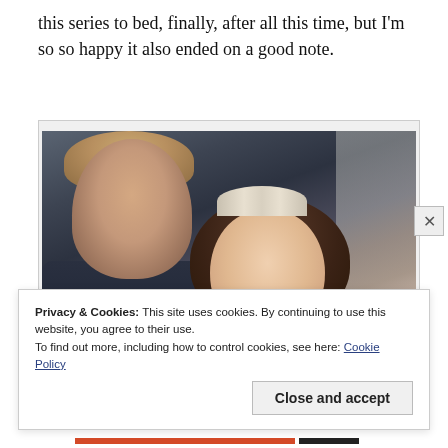this series to bed, finally, after all this time, but I'm so so happy it also ended on a good note.
[Figure (photo): A couple in wedding attire. A man in a dark suit leans his head toward a woman wearing a decorative tiara/crown and what appears to be a wedding dress. The image is in a muted, moody color tone.]
Privacy & Cookies: This site uses cookies. By continuing to use this website, you agree to their use.
To find out more, including how to control cookies, see here: Cookie Policy
Close and accept